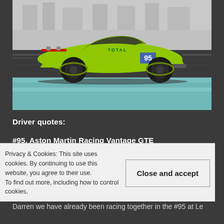[Figure (photo): Lime green Aston Martin Racing Vantage GTE race car #95 with Total sponsorship, photographed on track with motion blur background, teal/turquoise track surface visible]
Driver quotes:
#95, Aston Martin Racing Vantage GTE
Marco Sørensen: 'I'm super excited for the FIA WEC Super
Privacy & Cookies: This site uses cookies. By continuing to use this website, you agree to their use.
To find out more, including how to control cookies,
Darren we have already been racing together in the #95 at Le